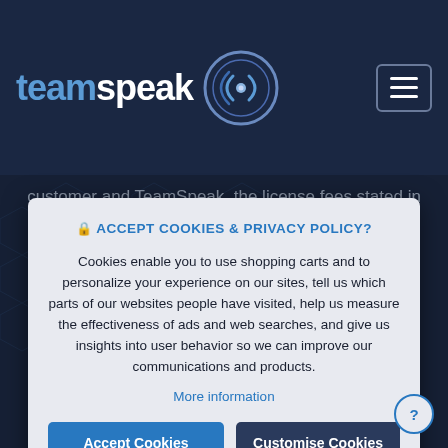[Figure (logo): TeamSpeak logo with text 'teamspeak' and circular icon with sound wave design]
customer and TeamSpeak, the license fees stated in the service description for the respective license
🔒 ACCEPT COOKIES & PRIVACY POLICY?
Cookies enable you to use shopping carts and to personalize your experience on our sites, tell us which parts of our websites people have visited, help us measure the effectiveness of ads and web searches, and give us insights into user behavior so we can improve our communications and products.
More information
Accept Cookies
Customise Cookies
period of four weeks beginning with the receipt of